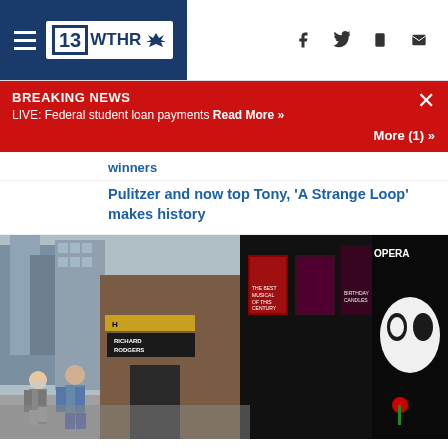13 WTHR NBC
BREAKING NEWS
LIVE: Federal student loan payments Read More »
More (1) »
winners
Pulitzer and now top Tony, 'A Strange Loop' makes history
[Figure (photo): Street view of Broadway theater district showing Richard Rodgers Theatre marquee and Phantom of the Opera poster on the right side, with pedestrians wearing masks walking on the sidewalk.]